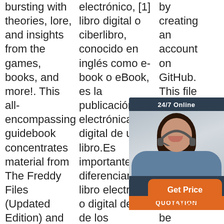bursting with theories, lore, and insights from the games, books, and more!. This all-encompassing guidebook concentrates material from The Freddy Files (Updated Edition) and adds over 100 pages of new
electrónico, [1] libro digital o ciberlibro, conocido en inglés como e-book o eBook, es la publicación electrónica o digital de un libro.Es importante diferenciar el libro electrónico o digital de uno de los
by creating an account on GitHub. This file contains bi U th in co di wi be
[Figure (other): Customer service chat widget with a woman wearing a headset, dark navy background, '24/7 Online' header, 'Click here for free chat!' text, and orange 'QUOTATION' button]
[Figure (other): Orange rounded button labeled 'Get Price' with 'TOP' text below in orange]